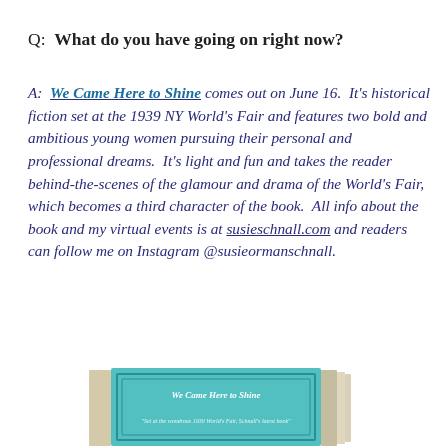Q:  What do you have going on right now?
A:  We Came Here to Shine comes out on June 16. It's historical fiction set at the 1939 NY World's Fair and features two bold and ambitious young women pursuing their personal and professional dreams. It's light and fun and takes the reader behind-the-scenes of the glamour and drama of the World's Fair, which becomes a third character of the book. All info about the book and my virtual events is at susieschnall.com and readers can follow me on Instagram @susieormanschnall.
[Figure (photo): Photo of the book 'We Came Here to Shine' showing the teal/turquoise cover with text reading 'Set at the wondrous 1939 World's Fair, Schnall's latest book']